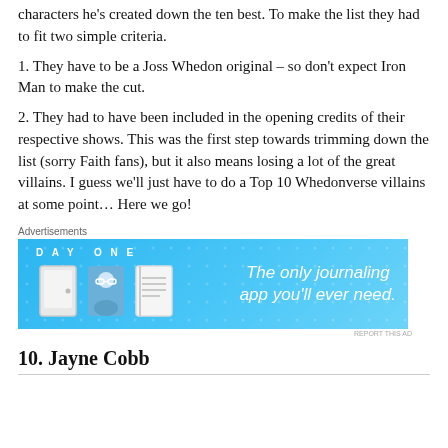characters he's created down the ten best. To make the list they had to fit two simple criteria.
1. They have to be a Joss Whedon original – so don't expect Iron Man to make the cut.
2. They had to have been included in the opening credits of their respective shows. This was the first step towards trimming down the list (sorry Faith fans), but it also means losing a lot of the great villains. I guess we'll just have to do a Top 10 Whedonverse villains at some point… Here we go!
[Figure (infographic): Advertisement for Day One journaling app with blue background, app icons, and text 'The only journaling app you'll ever need.']
10. Jayne Cobb